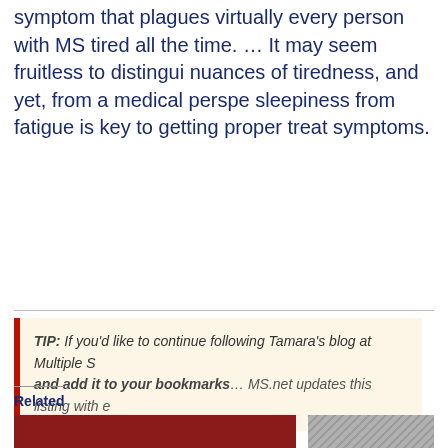symptom that plagues virtually every person with MS tired all the time. … It may seem fruitless to distinguish nuances of tiredness, and yet, from a medical perspective, sleepiness from fatigue is key to getting proper treatment for symptoms.
TIP: If you'd like to continue following Tamara's blog at Multiple S and add it to your bookmarks… MS.net updates this listing with e
Related
[Figure (illustration): Sleep News Monthly publication cover showing a dog lying on a red surface at top, with large SLEEP (blue) NEWS (red) MONTHLY text below]
[Figure (photo): Black and white photo of a Boston Terrier dog]